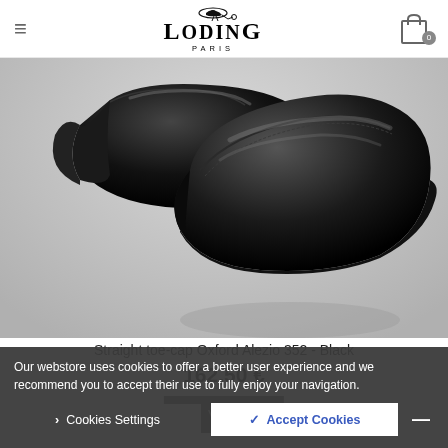Loding Paris — navigation header with hamburger menu and cart icon
[Figure (photo): Close-up photograph of a pair of black Oxford leather shoes (Straight toe-cap Oxford Alezio 352) against a light grey background]
Straight toe-cap Oxford Alezio 352 - Black
162,50 €
View
Our webstore uses cookies to offer a better user experience and we recommend you to accept their use to fully enjoy your navigation.
> Cookies Settings   ☑ Accept Cookies